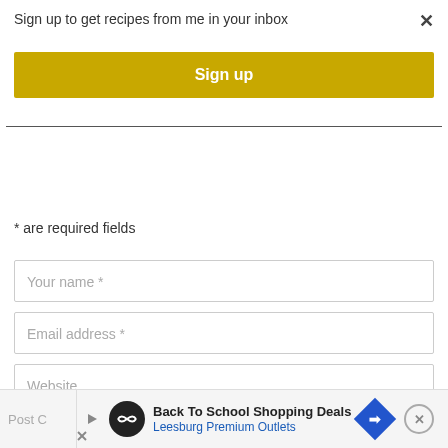Sign up to get recipes from me in your inbox
Sign up
* are required fields
Your name *
Email address *
Website
[Figure (screenshot): Ad banner: Back To School Shopping Deals - Leesburg Premium Outlets with play button, logo, and navigation arrow icon]